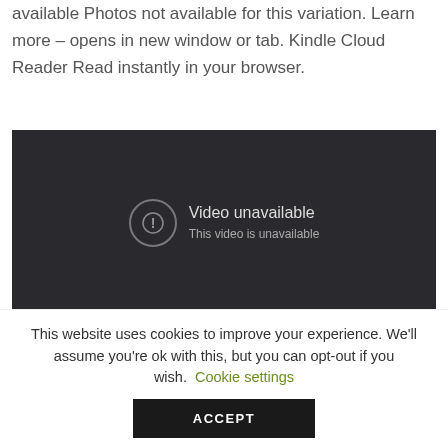available Photos not available for this variation. Learn more – opens in new window or tab. Kindle Cloud Reader Read instantly in your browser.
[Figure (screenshot): Dark video player showing 'Video unavailable' message with an exclamation mark icon and partial text 'This video is unavailable']
This website uses cookies to improve your experience. We'll assume you're ok with this, but you can opt-out if you wish. Cookie settings
ACCEPT